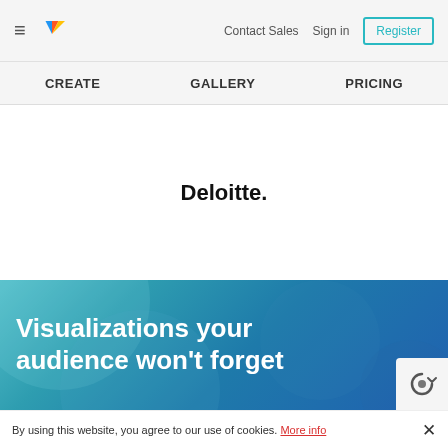≡  [Visme logo]  Contact Sales  Sign in  Register
CREATE  GALLERY  PRICING
[Figure (logo): Deloitte logo text with period]
Visualizations your audience won't forget
By using this website, you agree to our use of cookies. More info  ×